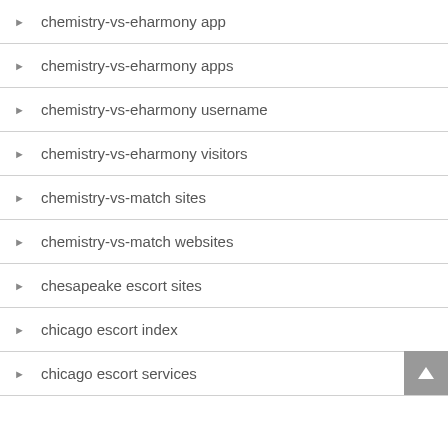chemistry-vs-eharmony app
chemistry-vs-eharmony apps
chemistry-vs-eharmony username
chemistry-vs-eharmony visitors
chemistry-vs-match sites
chemistry-vs-match websites
chesapeake escort sites
chicago escort index
chicago escort services